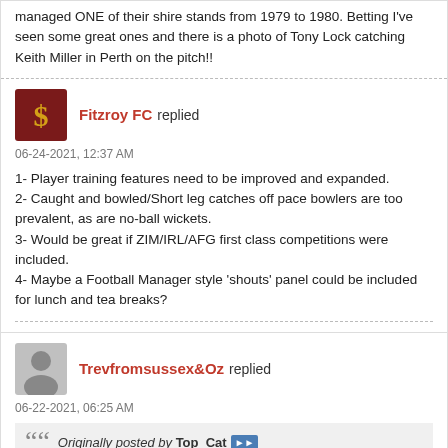managed ONE of theirshire stands from 1979 to 1980. Betting I've seen some great ones and there is a photo of Tony Lock catching Keith Miller in Perth on the pitch!!
Fitzroy FC replied
06-24-2021, 12:37 AM
1- Player training features need to be improved and expanded.
2- Caught and bowled/Short leg catches off pace bowlers are too prevalent, as are no-ball wickets.
3- Would be great if ZIM/IRL/AFG first class competitions were included.
4- Maybe a Football Manager style 'shouts' panel could be included for lunch and tea breaks?
Trevfromsussex&Oz replied
06-22-2021, 06:25 AM
Originally posted by Top_Cat
Oh hell yes, even better if one could use the look of the time (i.e. captain a team in the 50s so no helmets, etc.). Would love to skipper some teams from the twirly moustache era.
I have made a Data-base of Test stats as for1970. Check my post.